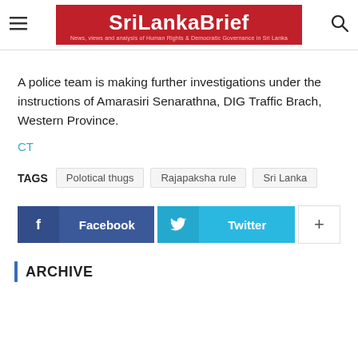SriLankaBrief — News, views and analysis of Human Rights & Democratic Governance in Sri Lanka
A police team is making further investigations under the instructions of Amarasiri Senarathna, DIG Traffic Brach, Western Province.
CT
TAGS: Polotical thugs, Rajapaksha rule, Sri Lanka
[Figure (other): Social share buttons: Facebook, Twitter, and a plus button]
ARCHIVE